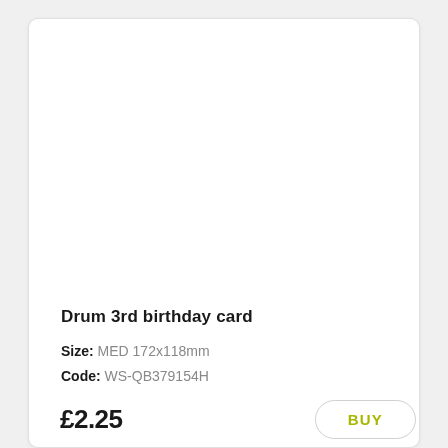[Figure (photo): White blank area representing a greeting card image (Drum 3rd birthday card product photo area)]
Drum 3rd birthday card
Size: MED 172x118mm
Code: WS-QB379154H
£2.25
BUY